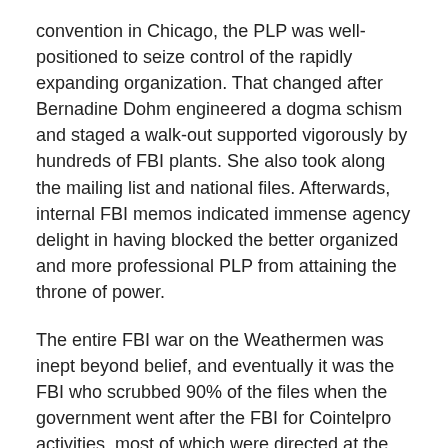convention in Chicago, the PLP was well-positioned to seize control of the rapidly expanding organization. That changed after Bernadine Dohm engineered a dogma schism and staged a walk-out supported vigorously by hundreds of FBI plants. She also took along the mailing list and national files. Afterwards, internal FBI memos indicated immense agency delight in having blocked the better organized and more professional PLP from attaining the throne of power.
The entire FBI war on the Weathermen was inept beyond belief, and eventually it was the FBI who scrubbed 90% of the files when the government went after the FBI for Cointelpro activities, most of which were directed at the Panthers and the Weathermen. At least one FBI informant attended every single major pow-wow, indicating the command structure could have easily been rounded up early in the game. One informant grew angry